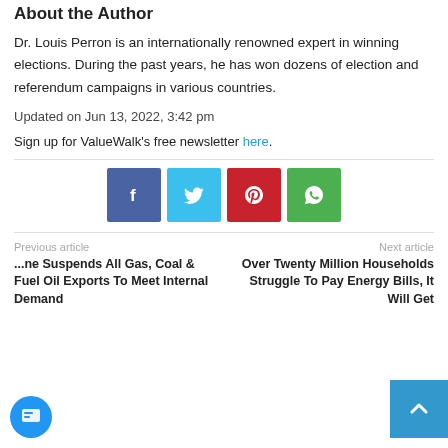About the Author
Dr. Louis Perron is an internationally renowned expert in winning elections. During the past years, he has won dozens of election and referendum campaigns in various countries.
Updated on Jun 13, 2022, 3:42 pm
Sign up for ValueWalk's free newsletter here.
[Figure (infographic): Social share buttons: Facebook (blue), Twitter (light blue), Pinterest (red), WhatsApp (green)]
Previous article
...ne Suspends All Gas, Coal & Fuel Oil Exports To Meet Internal Demand
Next article
Over Twenty Million Households Struggle To Pay Energy Bills, It Will Get